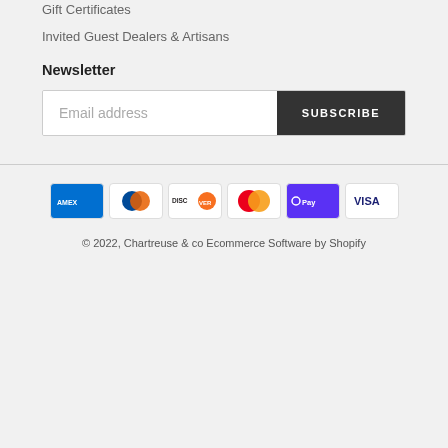Gift Certificates
Invited Guest Dealers & Artisans
Newsletter
Email address
SUBSCRIBE
[Figure (other): Payment method icons: American Express, Diners Club, Discover, Mastercard, Shop Pay, Visa]
© 2022, Chartreuse & co Ecommerce Software by Shopify